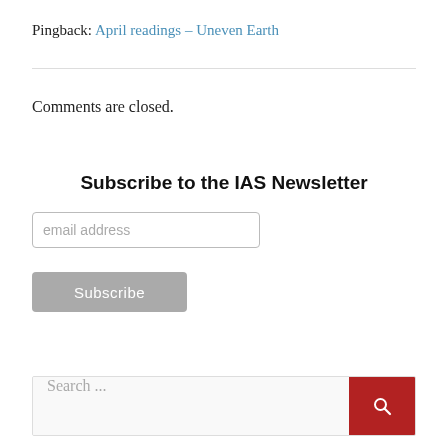Pingback: April readings – Uneven Earth
Comments are closed.
Subscribe to the IAS Newsletter
[Figure (screenshot): Email subscription form with an email address input field and a grey Subscribe button]
[Figure (screenshot): Search bar with placeholder text 'Search ...' and a red search button with magnifying glass icon]